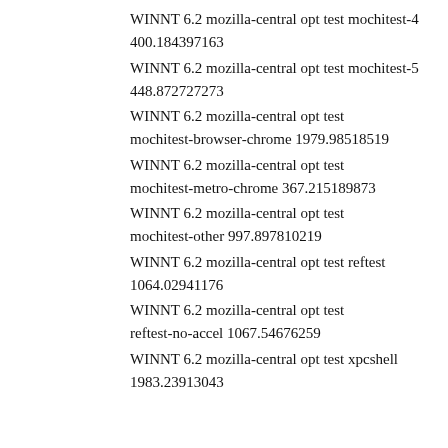WINNT 6.2 mozilla-central opt test mochitest-4 400.184397163
WINNT 6.2 mozilla-central opt test mochitest-5 448.872727273
WINNT 6.2 mozilla-central opt test mochitest-browser-chrome 1979.98518519
WINNT 6.2 mozilla-central opt test mochitest-metro-chrome 367.215189873
WINNT 6.2 mozilla-central opt test mochitest-other 997.897810219
WINNT 6.2 mozilla-central opt test reftest 1064.02941176
WINNT 6.2 mozilla-central opt test reftest-no-accel 1067.54676259
WINNT 6.2 mozilla-central opt test xpcshell 1983.23913043